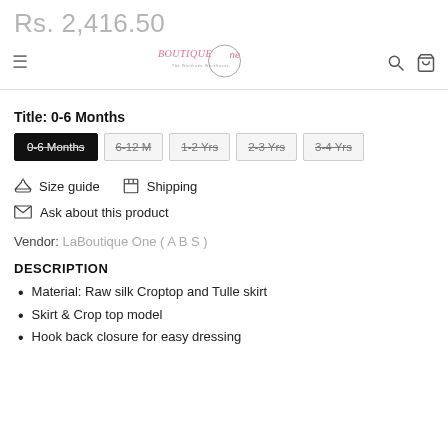Rs. 2,416.50 | BoutiqueOne navigation bar
Title: 0-6 Months
Size options: 0-6 Months (selected), 6-12 M, 1-2 Yrs, 2-3 Yrs, 3-4 Yrs
Size guide  Shipping
Ask about this product
Vendor: LaBoutique One ( A B S )
DESCRIPTION
Material: Raw silk Croptop and Tulle skirt
Skirt & Crop top model
Hook back closure for easy dressing